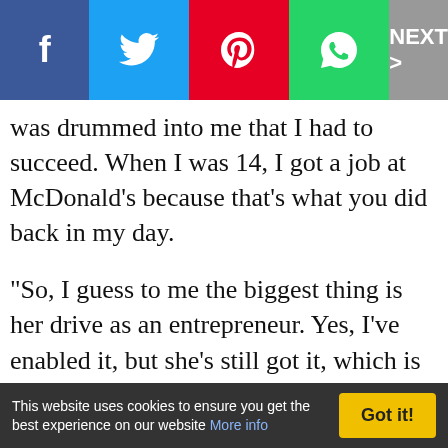NEXT >
was drummed into me that I had to succeed. When I was 14, I got a job at McDonald's because that's what you did back in my day.
"So, I guess to me the biggest thing is her drive as an entrepreneur. Yes, I've enabled it, but she's still got it, which is for me the most rewarding part," Jacenko said.
In May, Pixie's toy line alone made a staggering $200,000 in her native Australia, per The Independent. Several years ago, department store Myer agreed to stock her bow range, skyrocketing the 10-year-old's net worth.
Pixie even has a verified account on Instagram,
This website uses cookies to ensure you get the best experience on our website More info